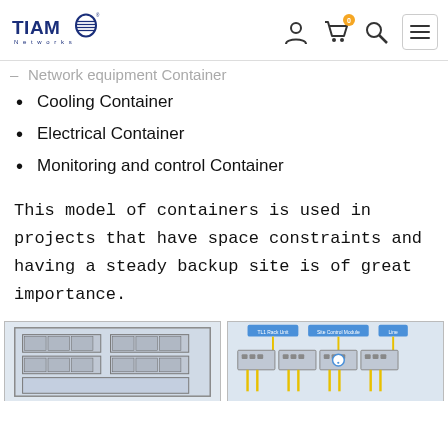TIAMO Networks
Network equipment Container
Cooling Container
Electrical Container
Monitoring and control Container
This model of containers is used in projects that have space constraints and having a steady backup site is of great importance.
[Figure (photo): Photo of a network equipment rack or server cabinet container unit]
[Figure (engineering-diagram): Engineering diagram showing containerized backup site layout with labeled components connected by yellow cables]